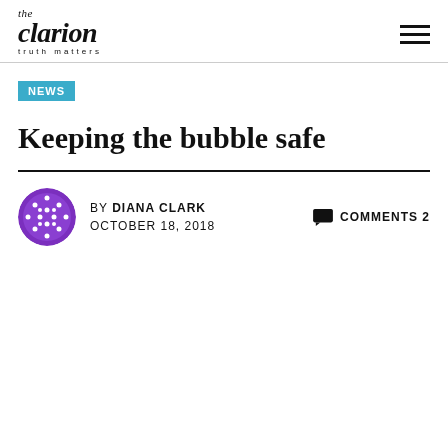the clarion — truth matters
NEWS
Keeping the bubble safe
BY DIANA CLARK OCTOBER 18, 2018 COMMENTS 2